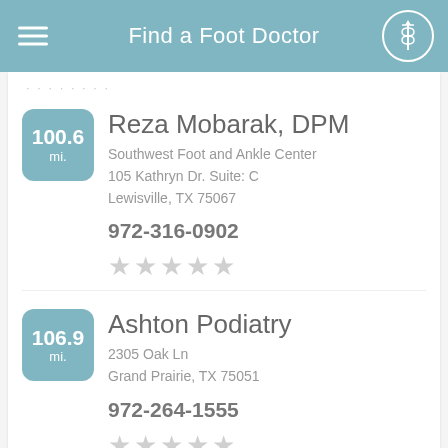Find a Foot Doctor
Reza Mobarak, DPM
Southwest Foot and Ankle Center
105 Kathryn Dr. Suite: C
Lewisville, TX 75067
972-316-0902
Ashton Podiatry
2305 Oak Ln
Grand Prairie, TX 75051
972-264-1555